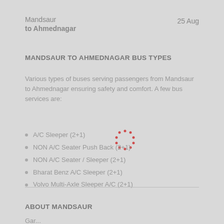Mandsaur to Ahmednagar   25 Aug
MANDSAUR TO AHMEDNAGAR BUS TYPES
Various types of buses serving passengers from Mandsaur to Ahmednagar ensuring safety and comfort. A few bus services are:
A/C Sleeper (2+1)
NON A/C Seater Push Back (2+1)
NON A/C Seater / Sleeper (2+1)
Bharat Benz A/C Sleeper (2+1)
Volvo Multi-Axle Sleeper A/C (2+1)
ABOUT MANDSAUR
Gar...